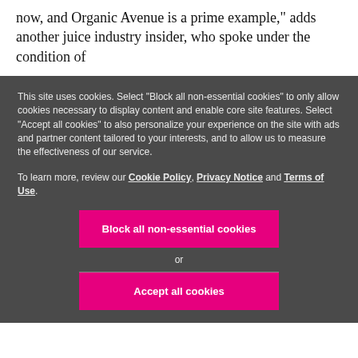now, and Organic Avenue is a prime example," adds another juice industry insider, who spoke under the condition of
This site uses cookies. Select "Block all non-essential cookies" to only allow cookies necessary to display content and enable core site features. Select "Accept all cookies" to also personalize your experience on the site with ads and partner content tailored to your interests, and to allow us to measure the effectiveness of our service.
To learn more, review our Cookie Policy, Privacy Notice and Terms of Use.
Block all non-essential cookies
or
Accept all cookies